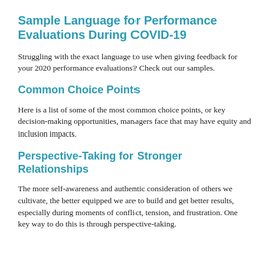Sample Language for Performance Evaluations During COVID-19
Struggling with the exact language to use when giving feedback for your 2020 performance evaluations? Check out our samples.
Common Choice Points
Here is a list of some of the most common choice points, or key decision-making opportunities, managers face that may have equity and inclusion impacts.
Perspective-Taking for Stronger Relationships
The more self-awareness and authentic consideration of others we cultivate, the better equipped we are to build and get better results, especially during moments of conflict, tension, and frustration. One key way to do this is through perspective-taking.